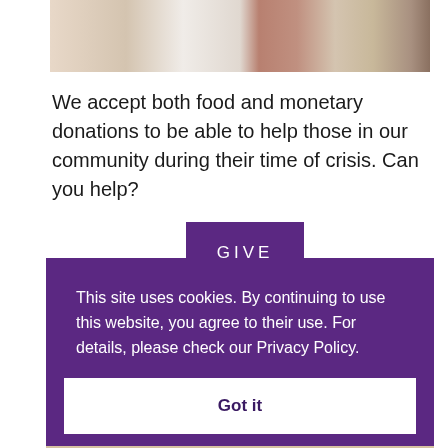[Figure (photo): Photo of food pantry shelves with canned goods, bags, and boxes]
We accept both food and monetary donations to be able to help those in our community during their time of crisis. Can you help?
GIVE
This site uses cookies. By continuing to use this website, you agree to their use. For details, please check our Privacy Policy.
Got it
[Figure (photo): Partial bottom photo showing food items]